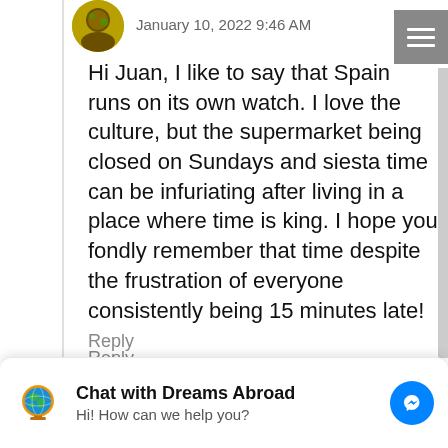January 10, 2022 9:46 AM
Hi Juan, I like to say that Spain runs on its own watch. I love the culture, but the supermarket being closed on Sundays and siesta time can be infuriating after living in a place where time is king. I hope you fondly remember that time despite the frustration of everyone consistently being 15 minutes late!
Reply
Kushigalu
December 12, 2021 11:10 AM
Reply